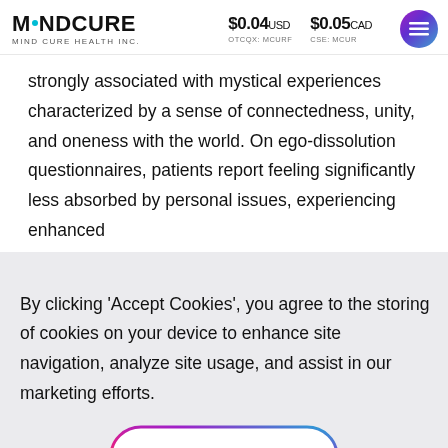MINDCURE | MIND CURE HEALTH INC. | $0.04 USD OTCQX: MCURF | $0.05 CAD CSE: MCUR
strongly associated with mystical experiences characterized by a sense of connectedness, unity, and oneness with the world. On ego-dissolution questionnaires, patients report feeling significantly less absorbed by personal issues, experiencing enhanced
By clicking 'Accept Cookies', you agree to the storing of cookies on your device to enhance site navigation, analyze site usage, and assist in our marketing efforts.
ACCEPT COOKIES